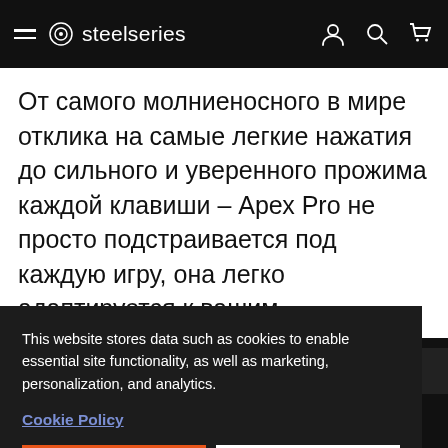SteelSeries navigation bar
От самого молниеносного в мире отклика на самые легкие нажатия до сильного и уверенного прожима каждой клавиши – Арех Pro не просто подстраивается под каждую игру, она легко адаптируется к вашим
[Figure (screenshot): Cookie consent banner with 'Accept' and 'Deny' buttons overlaying the page content]
Используйте настраиваемую